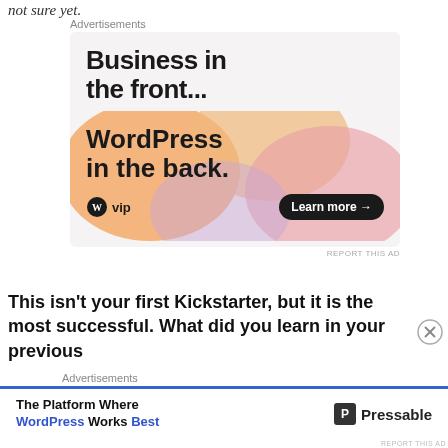not sure yet.
[Figure (screenshot): WordPress VIP advertisement banner: 'Business in the front... WordPress in the back.' with Learn more button]
This isn't your first Kickstarter, but it is the most successful. What did you learn in your previous
[Figure (screenshot): Pressable advertisement: 'The Platform Where WordPress Works Best']